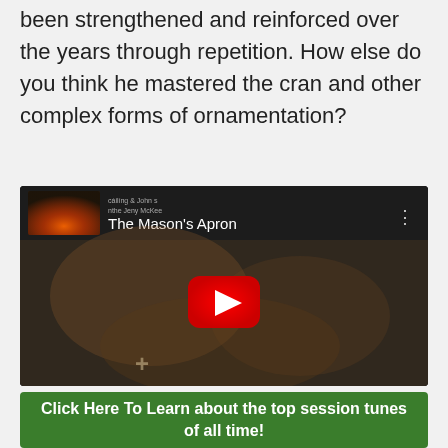been strengthened and reinforced over the years through repetition. How else do you think he mastered the cran and other complex forms of ornamentation?
[Figure (screenshot): YouTube video thumbnail for 'The Mason's Apron' showing a dark background with fire imagery and a red play button in the center.]
How can you achieve this?
Click Here To Learn about the top session tunes of all time!